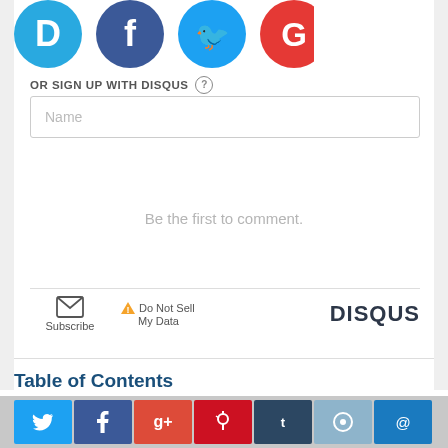[Figure (screenshot): Social login icons: Disqus (blue D), Facebook (blue f), Twitter (blue bird), Google (red G)]
OR SIGN UP WITH DISQUS ?
[Figure (screenshot): Name text input field with placeholder 'Name']
Be the first to comment.
[Figure (screenshot): Footer bar with Subscribe (envelope icon), Do Not Sell My Data (warning triangle), and DISQUS logo]
Table of Contents
[Figure (screenshot): Bottom social sharing bar with Twitter, Facebook, Google+, Pinterest, Tumblr, Reddit, Email buttons]